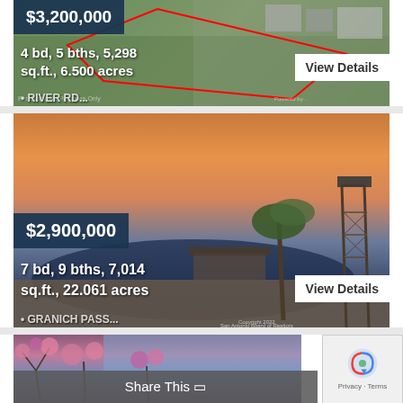[Figure (photo): Aerial view of property with red boundary lines marked, showing land and surrounding neighborhood]
$3,200,000
4 bd, 5 bths, 5,298 sq.ft., 6.500 acres
View Details
[Figure (photo): Luxury property with swimming pool, palm trees, and a tall oil derrick tower at dusk/sunset]
$2,900,000
7 bd, 9 bths, 7,014 sq.ft., 22.061 acres
View Details
[Figure (photo): Property photo with blooming pink/purple trees and blue sky]
Share This □
[Figure (other): reCAPTCHA widget with Privacy - Terms text]